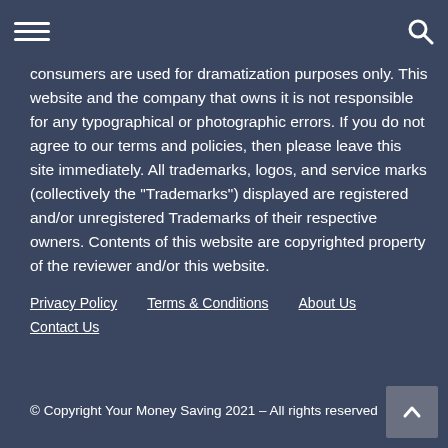[hamburger menu] [search icon]
consumers are used for dramatization purposes only. This website and the company that owns it is not responsible for any typographical or photographic errors. If you do not agree to our terms and policies, then please leave this site immediately. All trademarks, logos, and service marks (collectively the "Trademarks") displayed are registered and/or unregistered Trademarks of their respective owners. Contents of this website are copyrighted property of the reviewer and/or this website.
Privacy Policy   Terms & Conditions   About Us   Contact Us
© Copyright Your Money Saving 2021 – All rights reserved